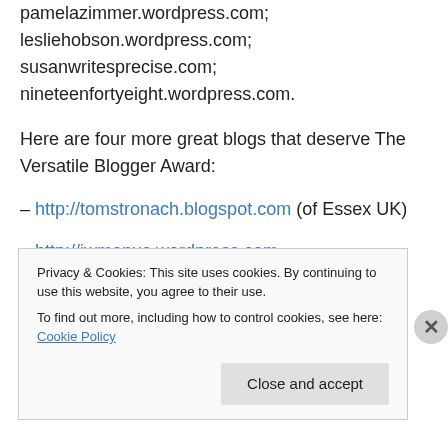pamelazimmer.wordpress.com; lesliehobson.wordpress.com; susanwritesprecise.com; nineteenfortyeight.wordpress.com.
Here are four more great blogs that deserve The Versatile Blogger Award:
– http://tomstronach.blogspot.com (of Essex UK)
– http://jwmanus.wordpress.com
– http://lynnobermoeller.blogspot.com
Privacy & Cookies: This site uses cookies. By continuing to use this website, you agree to their use. To find out more, including how to control cookies, see here: Cookie Policy